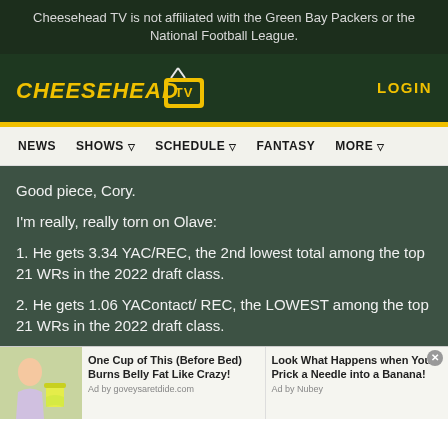Cheesehead TV is not affiliated with the Green Bay Packers or the National Football League.
[Figure (logo): Cheesehead TV logo with yellow stylized text and TV icon]
LOGIN
NEWS  SHOWS  SCHEDULE  FANTASY  MORE
Good piece, Cory.
I'm really, really torn on Olave:
1. He gets 3.34 YAC/REC, the 2nd lowest total among the top 21 WRs in the 2022 draft class.
2. He gets 1.06 YAContact/ REC, the LOWEST among the top 21 WRs in the 2022 draft class.
[Figure (photo): Advertisement image showing a woman drinking from a cup]
One Cup of This (Before Bed) Burns Belly Fat Like Crazy!
Ad by goveysaretdide.com
Look What Happens when You Prick a Needle into a Banana!
Ad by Nubey